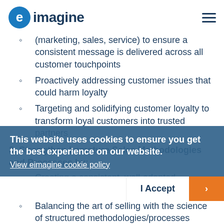eimagine
(marketing, sales, service) to ensure a consistent message is delivered across all customer touchpoints
Proactively addressing customer issues that could harm loyalty
Targeting and solidifying customer loyalty to transform loyal customers into trusted partners
3. Strengthen Immature Sales Methodologies and Processes by:
Creating a consistent, well-adopted methodology
Balancing the art of selling with the science of structured methodologies/processes
4. Apply More Science to Sales Talent
This website uses cookies to ensure you get the best experience on our website. View eimagine cookie policy
I Accept